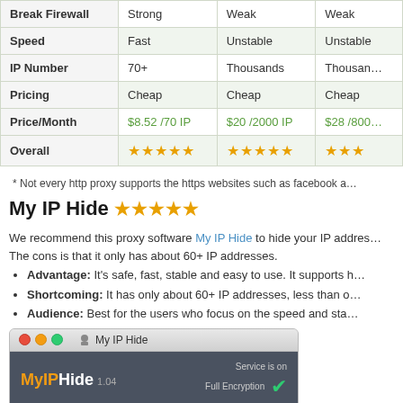|  | My IP Hide | HTTP Proxy | VPN |
| --- | --- | --- | --- |
| Break Firewall | Strong | Weak | Weak |
| Speed | Fast | Unstable | Unstable |
| IP Number | 70+ | Thousands | Thousands |
| Pricing | Cheap | Cheap | Cheap |
| Price/Month | $8.52 /70 IP | $20 /2000 IP | $28 /800 |
| Overall | ★★★★★ | ★★★★★ | ★★★ |
* Not every http proxy supports the https websites such as facebook a...
My IP Hide ★★★★★
We recommend this proxy software My IP Hide to hide your IP address. The cons is that it only has about 60+ IP addresses.
Advantage: It's safe, fast, stable and easy to use. It supports h...
Shortcoming: It has only about 60+ IP addresses, less than o...
Audience: Best for the users who focus on the speed and sta...
[Figure (screenshot): Screenshot of My IP Hide version 1.04 application window showing 'Service is on Full Encryption' with a New IP row below]